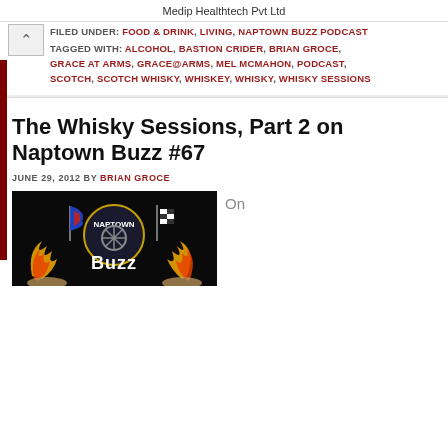Medip Healthtech Pvt Ltd
FILED UNDER: FOOD & DRINK, LIVING, NAPTOWN BUZZ PODCAST
TAGGED WITH: ALCOHOL, BASTION CRIDER, BRIAN GROCE, GRACE AT ARMS, GRACE@ARMS, MEL MCMAHON, PODCAST, SCOTCH, SCOTCH WHISKY, WHISKEY, WHISKY, WHISKY SESSIONS
The Whisky Sessions, Part 2 on Naptown Buzz #67
JUNE 29, 2012 BY BRIAN GROCE
[Figure (logo): Naptown Buzz logo with racing flags, flames, and stylized text on black background]
On